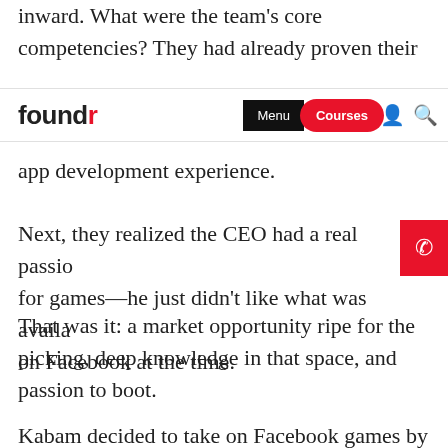inward. What were the team’s core competencies? They had already proven their
[Figure (screenshot): Foundr website navigation bar with logo 'foundr' (r in red), black 'Menu' button, red 'Courses' pill button, person icon, and search icon]
app development experience.
Next, they realized the CEO had a real passion for games—he just didn’t like what was available on Facebook at the time.
That was it: a market opportunity ripe for the picking, deep knowledge in that space, and passion to boot.
Kabam decided to take on Facebook games by